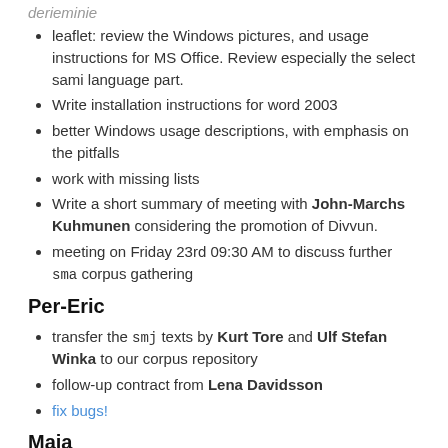derieminie
leaflet: review the Windows pictures, and usage instructions for MS Office. Review especially the select sami language part.
Write installation instructions for word 2003
better Windows usage descriptions, with emphasis on the pitfalls
work with missing lists
Write a short summary of meeting with John-Marchs Kuhmunen considering the promotion of Divvun.
meeting on Friday 23rd 09:30 AM to discuss further sma corpus gathering
Per-Eric
transfer the smj texts by Kurt Tore and Ulf Stefan Winka to our corpus repository
follow-up contract from Lena Davidsson
fix bugs!
Maja